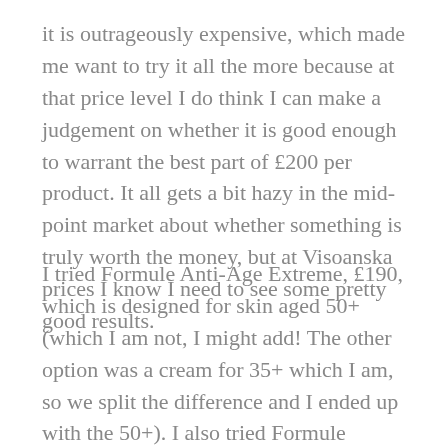it is outrageously expensive, which made me want to try it all the more because at that price level I do think I can make a judgement on whether it is good enough to warrant the best part of £200 per product. It all gets a bit hazy in the mid-point market about whether something is truly worth the money, but at Visoanska prices I know I need to see some pretty good results.
I tried Formule Anti-Age Extreme, £190, which is designed for skin aged 50+ (which I am not, I might add! The other option was a cream for 35+ which I am, so we split the difference and I ended up with the 50+). I also tried Formule Longevite Cellulaire, £180 for night-time. Combined, the creams